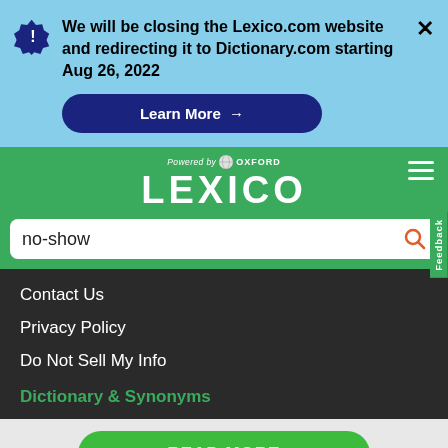We will be closing the Lexico.com website and redirecting it to Dictionary.com starting Aug 26, 2022
Learn More →
[Figure (logo): Lexico powered by Oxford logo on green background with hamburger menu]
no-show
Contact Us
Privacy Policy
Do Not Sell My Info
Dictionary & Synonyms
READ MORE
on Newz Online